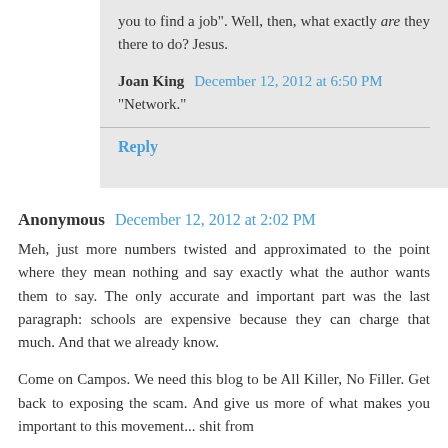you to find a job". Well, then, what exactly are they there to do? Jesus.
Joan King  December 12, 2012 at 6:50 PM
"Network."
Reply
Anonymous  December 12, 2012 at 2:02 PM
Meh, just more numbers twisted and approximated to the point where they mean nothing and say exactly what the author wants them to say. The only accurate and important part was the last paragraph: schools are expensive because they can charge that much. And that we already know.
Come on Campos. We need this blog to be All Killer, No Filler. Get back to exposing the scam. And give us more of what makes you important to this movement... shit from